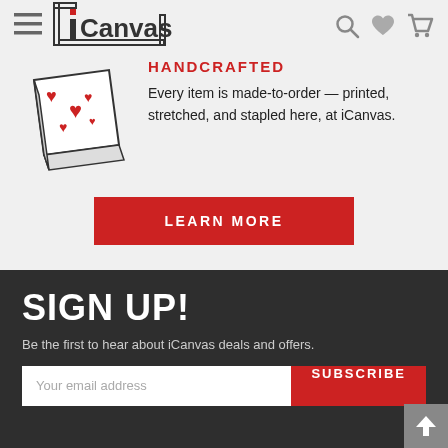[Figure (logo): iCanvas logo with bracket-style frame around text]
[Figure (illustration): Canvas print illustration with red hearts]
HANDCRAFTED
Every item is made-to-order — printed, stretched, and stapled here, at iCanvas.
LEARN MORE
SIGN UP!
Be the first to hear about iCanvas deals and offers.
Your email address
SUBSCRIBE